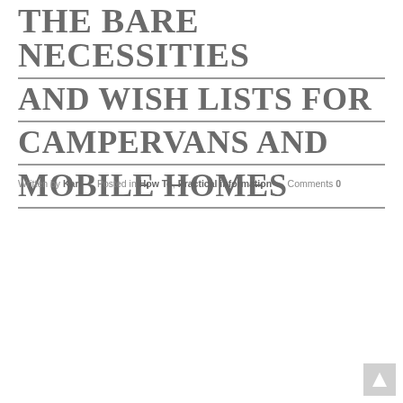THE BARE NECESSITIES AND WISH LISTS FOR CAMPERVANS AND MOBILE HOMES
Written by Karl   Posted in How To, Practical information   Comments 0